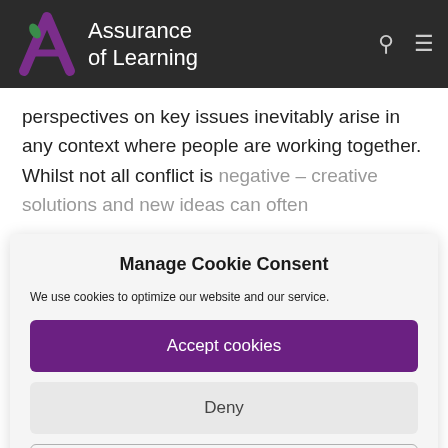[Figure (logo): Assurance of Learning logo with purple stylized A and leaf, white text on dark background, with search and menu icons]
perspectives on key issues inevitably arise in any context where people are working together. Whilst not all conflict is negative – creative solutions and new ideas can often
Manage Cookie Consent
We use cookies to optimize our website and our service.
Accept cookies
Deny
View preferences